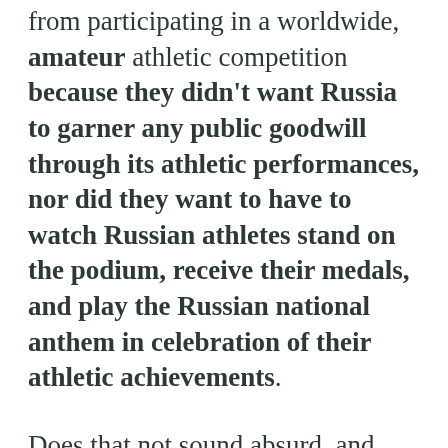from participating in a worldwide, amateur athletic competition because they didn't want Russia to garner any public goodwill through its athletic performances, nor did they want to have to watch Russian athletes stand on the podium, receive their medals, and play the Russian national anthem in celebration of their athletic achievements.
Does that not sound absurd, and incredibly petty to you? It does to me. It comes across as wholly desperate too. It's like the Western elites have